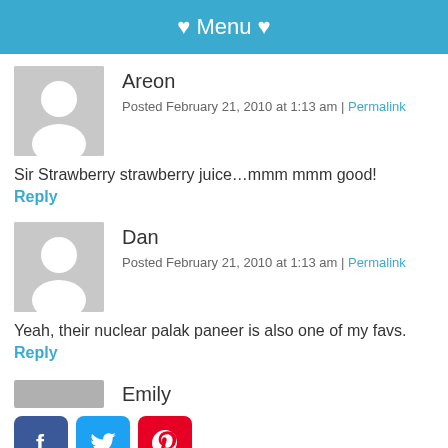♥ Menu ♥
Areon
Posted February 21, 2010 at 1:13 am | Permalink
Sir Strawberry strawberry juice…mmm mmm good!
Reply
Dan
Posted February 21, 2010 at 1:13 am | Permalink
Yeah, their nuclear palak paneer is also one of my favs.
Reply
Emily
[Figure (other): Social media icons: Facebook, Twitter, Pinterest, LinkedIn]